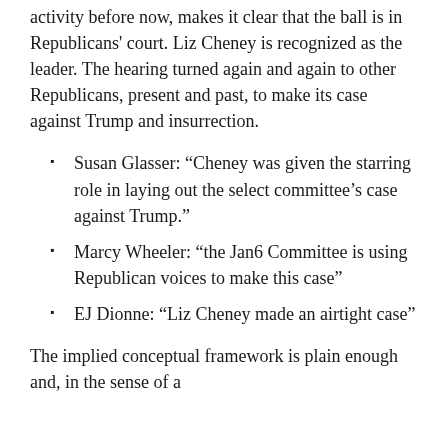activity before now, makes it clear that the ball is in Republicans' court. Liz Cheney is recognized as the leader. The hearing turned again and again to other Republicans, present and past, to make its case against Trump and insurrection.
Susan Glasser: “Cheney was given the starring role in laying out the select committee’s case against Trump.”
Marcy Wheeler: “the Jan6 Committee is using Republican voices to make this case”
EJ Dionne: “Liz Cheney made an airtight case”
The implied conceptual framework is plain enough and, in the sense of a